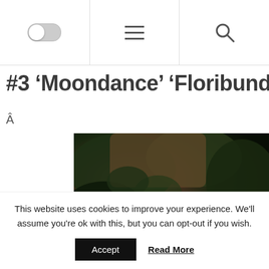Navigation bar with toggle switch, hamburger menu, and search icon
#3 'Moondance' 'Floribunda of the
Â
[Figure (photo): Close-up photo of white flower petals against dark green foliage background]
This website uses cookies to improve your experience. We'll assume you're ok with this, but you can opt-out if you wish. Accept Read More